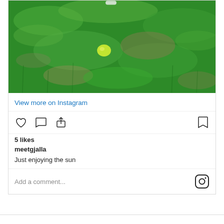[Figure (photo): Grass lawn photo with a small green object (tennis ball or lime) lying on the grass, taken on a sunny day. Green grass with some bare brown patches visible.]
View more on Instagram
5 likes
meetgjalla
Just enjoying the sun
Add a comment...